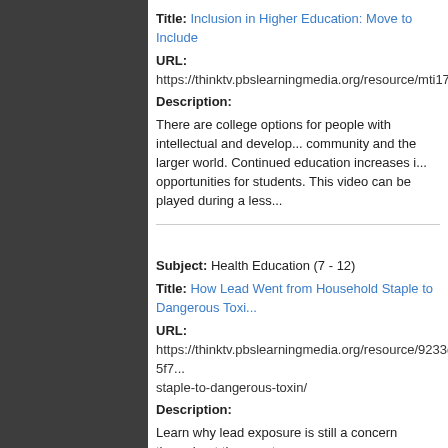Title: Inclusion in Higher Education: Move to Include
URL: https://thinktv.pbslearningmedia.org/resource/mti17.goingt...
Description:
There are college options for people with intellectual and developmental disabilities who want to be part of their community and the larger world. Continued education increases independence and expands opportunities for students. This video can be played during a less...
Subject: Health Education (7 - 12)
Title: How Lead Went from Household Staple to Dangerous Toxi...
URL: https://thinktv.pbslearningmedia.org/resource/9233db95-5f7.../staple-to-dangerous-toxin/
Description:
Learn why lead exposure is still a concern throughout the country... NewsHour from October 12, 2016.
Subject: Health Education (9 - 12)
Title: Coal's Deadly Dust - A Resurgence in Black Lung Disease...